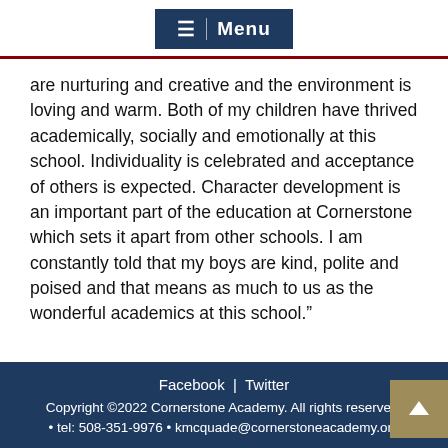Menu
are nurturing and creative and the environment is loving and warm. Both of my children have thrived academically, socially and emotionally at this school. Individuality is celebrated and acceptance of others is expected. Character development is an important part of the education at Cornerstone which sets it apart from other schools. I am constantly told that my boys are kind, polite and poised and that means as much to us as the wonderful academics at this school.”
Facebook | Twitter
Copyright ©2022 Cornerstone Academy. All rights reserved.
• tel: 508-351-9976 • kmcquade@cornerstoneacademy.org